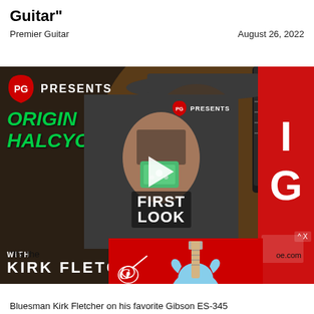Guitar"
Premier Guitar
August 26, 2022
[Figure (screenshot): Premier Guitar PG Presents video page with overlapping thumbnails: Origin Halcyon First Look video with Kirk Fletcher, a Guitar Center advertisement showing a light blue electric guitar, and PG Presents logo elements.]
"It's the
oe.com
Bluesman Kirk Fletcher on his favorite Gibson ES-345